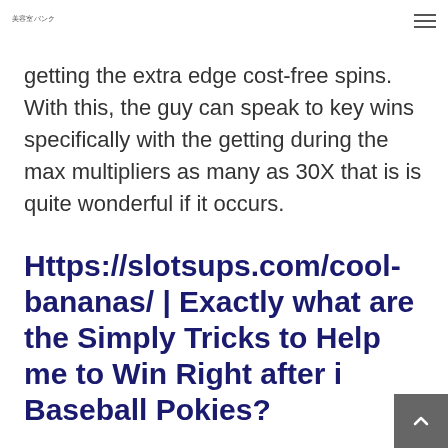美容室バンク
getting the extra edge cost-free spins. With this, the guy can speak to key wins specifically with the getting during the max multipliers as many as 30X that is is quite wonderful if it occurs.
Https://slotsups.com/cool-bananas/ | Exactly what are the Simply Tricks to Help me to Win Right after i Baseball Pokies?